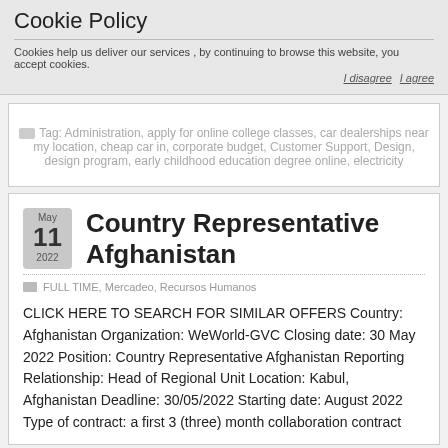Cookie Policy
Cookies help us deliver our services , by continuing to browse this website, you accept cookies.
I disagree  I agree
Tag: Administration, apply for online college classes, car dealerships near my location, cheap car in, corporate budget, Customer Support, Design, design program, early childhood education degree online, electricity
Country Representative Afghanistan
FULL TIME, Mercadeo, Recursos Humanos
CLICK HERE TO SEARCH FOR SIMILAR OFFERS Country: Afghanistan Organization: WeWorld-GVC Closing date: 30 May 2022 Position: Country Representative Afghanistan Reporting Relationship: Head of Regional Unit Location: Kabul, Afghanistan Deadline: 30/05/2022 Starting date: August 2022 Type of contract: a first 3 (three) month collaboration contract